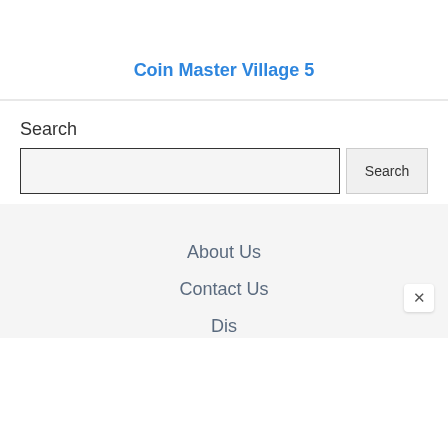Coin Master Village 5
Search
About Us
Contact Us
Dis...